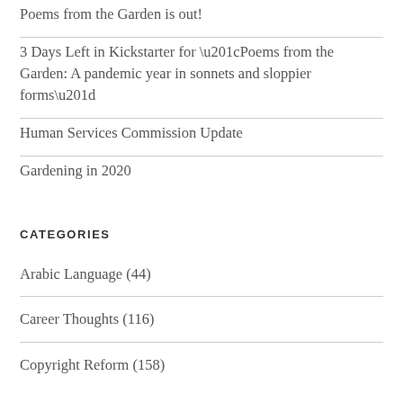Poems from the Garden is out!
3 Days Left in Kickstarter for “Poems from the Garden: A pandemic year in sonnets and sloppier forms”
Human Services Commission Update
Gardening in 2020
CATEGORIES
Arabic Language (44)
Career Thoughts (116)
Copyright Reform (158)